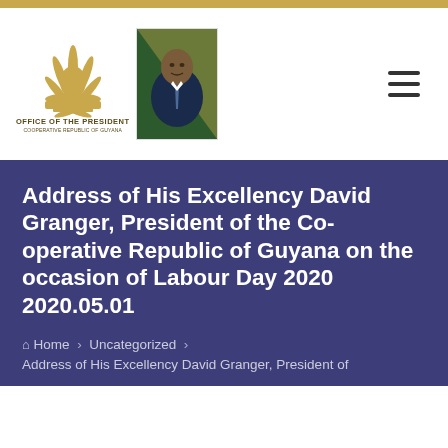Office of the President – Cooperative Republic of Guyana
[Figure (logo): Office of the President, Cooperative Republic of Guyana logo with stylized sunburst/wheat motif]
[Figure (photo): Portrait photo of President David Granger in suit against flag background]
Address of His Excellency David Granger, President of the Co-operative Republic of Guyana on the occasion of Labour Day 2020 2020.05.01
Home › Uncategorized › Address of His Excellency David Granger, President of the